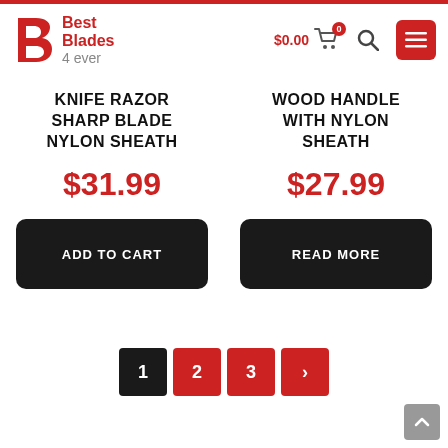[Figure (logo): Best Blades 4 ever logo with red stylized B icon and red/gray text]
$0.00 cart with 0 items, search icon, menu icon
KNIFE RAZOR SHARP BLADE NYLON SHEATH
$31.99
ADD TO CART
WOOD HANDLE WITH NYLON SHEATH
$27.99
READ MORE
1 2 3 >